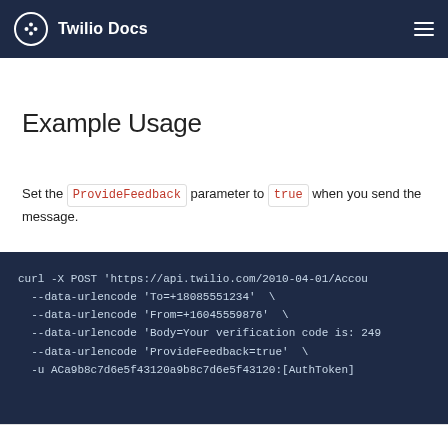Twilio Docs
Example Usage
Set the ProvideFeedback parameter to true when you send the message.
curl -X POST 'https://api.twilio.com/2010-04-01/Accou
  --data-urlencode 'To=+18085551234' \
  --data-urlencode 'From=+16045559876' \
  --data-urlencode 'Body=Your verification code is: 249
  --data-urlencode 'ProvideFeedback=true' \
  -u ACa9b8c7d6e5f43120a9b8c7d6e5f43120:[AuthToken]